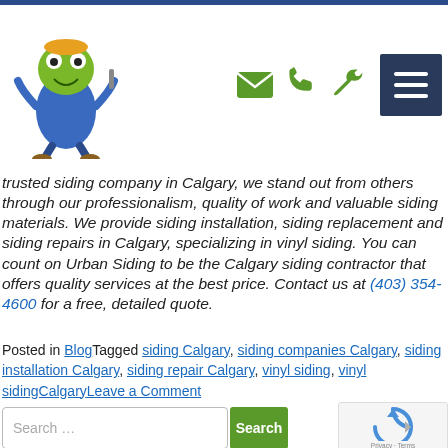[Figure (logo): Urban Siding logo with cartoon green frog mascot and text URBAN SIDING in green and navy blue]
trusted siding company in Calgary, we stand out from others through our professionalism, quality of work and valuable siding materials. We provide siding installation, siding replacement and siding repairs in Calgary, specializing in vinyl siding. You can count on Urban Siding to be the Calgary siding contractor that offers quality services at the best price. Contact us at (403) 354-4600 for a free, detailed quote.
Posted in BlogTagged siding Calgary, siding companies Calgary, siding installation Calgary, siding repair Calgary, vinyl siding, vinyl sidingCalgaryLeave a Comment